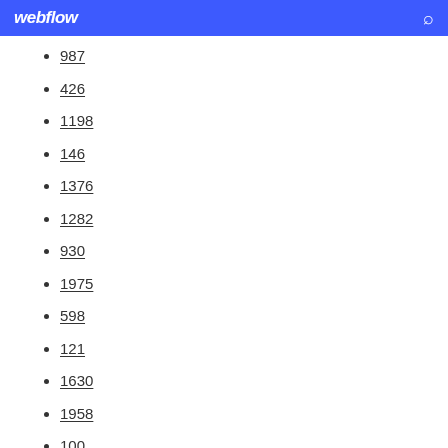webflow
987
426
1198
146
1376
1282
930
1975
598
121
1630
1958
100